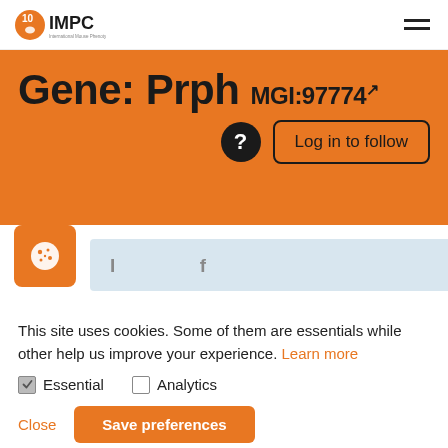IMPC - International Mouse Phenotyping Consortium
Gene: Prph MGI:97774
This site uses cookies. Some of them are essentials while other help us improve your experience. Learn more
Essential
Analytics
Close
Save preferences